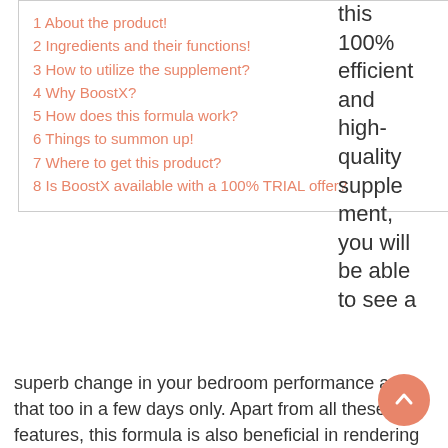1 About the product!
2 Ingredients and their functions!
3 How to utilize the supplement?
4 Why BoostX?
5 How does this formula work?
6 Things to summon up!
7 Where to get this product?
8 Is BoostX available with a 100% TRIAL offer?
this 100% efficient and high-quality supplement, you will be able to see a
superb change in your bedroom performance and that too in a few days only. Apart from all these features, this formula is also beneficial in rendering your intensified orgasms and boosted staying power. Also, it allows you to perform at your best when it comes to sex. So, if you want to get harder erections and stronger bedroom performance, then